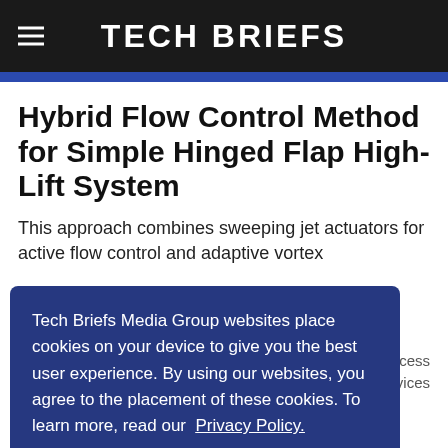Tech Briefs
Hybrid Flow Control Method for Simple Hinged Flap High-Lift System
This approach combines sweeping jet actuators for active flow control and adaptive vortex
Tech Briefs Media Group websites place cookies on your device to give you the best user experience. By using our websites, you agree to the placement of these cookies. To learn more, read our Privacy Policy.
Accept & Continue
on aircraft wings by utilizing a hybrid concept of both sweeping